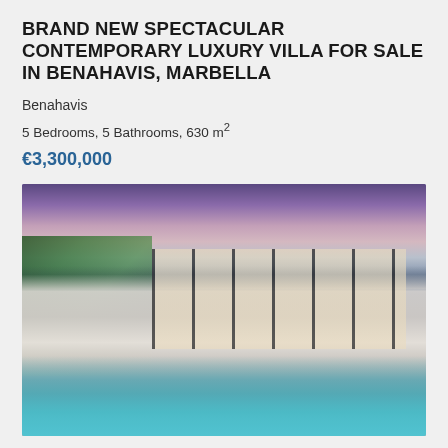BRAND NEW SPECTACULAR CONTEMPORARY LUXURY VILLA FOR SALE IN BENAHAVIS, MARBELLA
Benahavis
5 Bedrooms, 5 Bathrooms, 630 m²
€3,300,000
[Figure (photo): Exterior twilight/dusk photograph of a modern contemporary luxury villa in Benahavis, Marbella. The villa features white cubic architecture with large floor-to-ceiling black-framed windows illuminated from within. Surrounded by palm trees and tropical landscaping on the left. A large turquoise swimming pool with sun loungers is in the foreground. Purple-pink twilight sky in the background.]